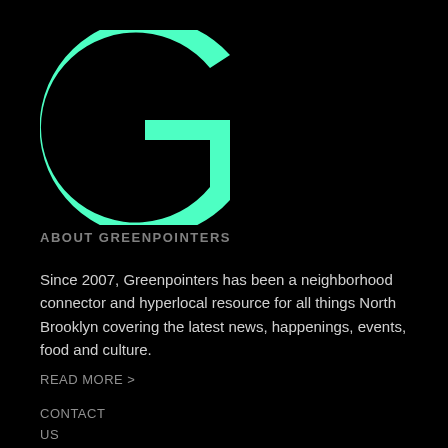[Figure (logo): Large stylized letter G in mint/teal green color on black background, representing the Greenpointers logo]
ABOUT GREENPOINTERS
Since 2007, Greenpointers has been a neighborhood connector and hyperlocal resource for all things North Brooklyn covering the latest news, happenings, events, food and culture.
READ MORE >
CONTACT
US